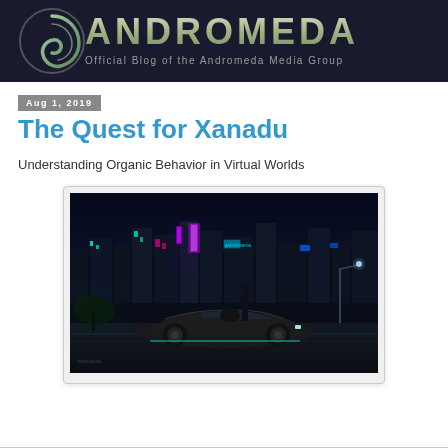ANDROMEDA — Official Blog of the Andromeda Media Group
Aug 1, 2019
The Quest for Xanadu
Understanding Organic Behavior in Virtual Worlds
[Figure (photo): Cyberpunk-style city scene at night with neon lights, a futuristic sports car in the foreground, and a figure standing nearby amid a dense urban skyline of illuminated buildings.]